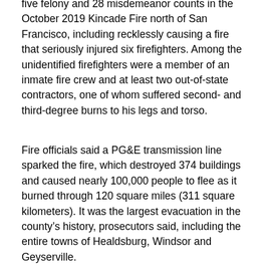five felony and 28 misdemeanor counts in the October 2019 Kincade Fire north of San Francisco, including recklessly causing a fire that seriously injured six firefighters. Among the unidentified firefighters were a member of an inmate fire crew and at least two out-of-state contractors, one of whom suffered second- and third-degree burns to his legs and torso.
Fire officials said a PG&E transmission line sparked the fire, which destroyed 374 buildings and caused nearly 100,000 people to flee as it burned through 120 square miles (311 square kilometers). It was the largest evacuation in the county's history, prosecutors said, including the entire towns of Healdsburg, Windsor and Geyserville.
[td_cw_facebook_share]
The charges and related enhancements accuse the company of destroying inhabited structures and emitting air